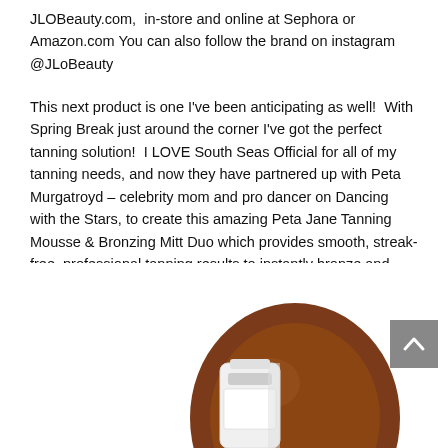JLOBeauty.com,  in-store and online at Sephora or Amazon.com You can also follow the brand on instagram @JLoBeauty
This next product is one I've been anticipating as well!  With Spring Break just around the corner I've got the perfect tanning solution!  I LOVE South Seas Official for all of my tanning needs, and now they have partnered up with Peta Murgatroyd – celebrity mom and pro dancer on Dancing with the Stars, to create this amazing Peta Jane Tanning Mousse & Bronzing Mitt Duo which provides smooth, streak-free, professional tanning results to instantly bronze and glamorize your skin to perfection with ease.
[Figure (photo): Photo of a tanning mousse bottle (white) and a bronzing mitt (brown/dark tan oval shape) partially visible at the bottom of the page]